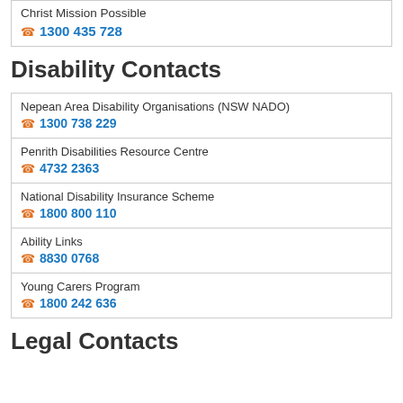Christ Mission Possible
1300 435 728
Disability Contacts
Nepean Area Disability Organisations (NSW NADO)
1300 738 229
Penrith Disabilities Resource Centre
4732 2363
National Disability Insurance Scheme
1800 800 110
Ability Links
8830 0768
Young Carers Program
1800 242 636
Legal Contacts